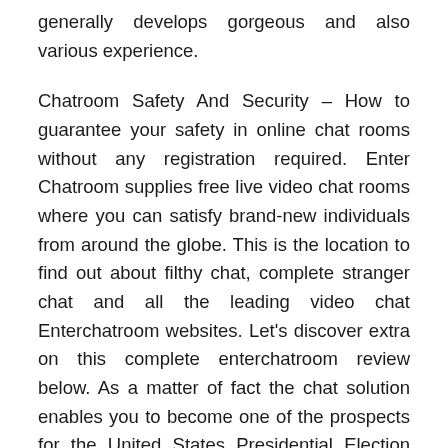generally develops gorgeous and also various experience.
Chatroom Safety And Security – How to guarantee your safety in online chat rooms without any registration required. Enter Chatroom supplies free live video chat rooms where you can satisfy brand-new individuals from around the globe. This is the location to find out about filthy chat, complete stranger chat and all the leading video chat Enterchatroom websites. Let's discover extra on this complete enterchatroom review below. As a matter of fact the chat solution enables you to become one of the prospects for the United States Presidential Election too. The individual you will certainly chat with